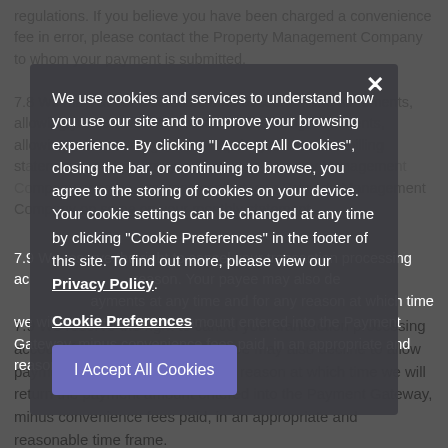regulations. If you believe you have been charged a convenience fee in error, please contact the Property Management Company to whom your payment is submitted.
7.8 We may, at our discretion, offer account billing statements, allowing you to review the most current billing statements, allowing you to manage, view, or print your account billing statements, and you may contact your Property Management Company or so on your monthly statement.
We use cookies and services to understand how you use our site and to improve your browsing experience. By clicking "I Accept All Cookies", closing the bar, or continuing to browse, you agree to the storing of cookies on your device. Your cookie settings can be changed at any time by clicking "Cookie Preferences" in the footer of this site. To find out more, please view our Privacy Policy.
Cookie Preferences
I Accept All Cookies
7.9 We reserve the right to cancel your transaction processing account for any reason. Your payee may also decline to allow payments at any time and for any reason at which time we will return the payment amount entered into the Payment Gateway, minus convenience fees paid, in an appropriate and reasonable time frame.
7.10 We reserve the right to refuse processing service to you at any time for any reason. You also maintain the ability to discontinue use of the Payment Gateway at any time for any reason. Active recurring payments must be deleted before use of service is discontinued. It is your responsibility to terminate